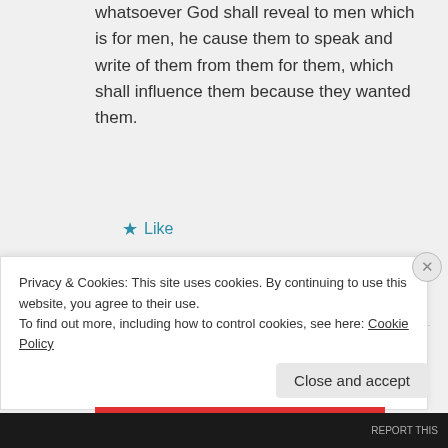whatsoever God shall reveal to men which is for men, he cause them to speak and write of them from them for them, which shall influence them because they wanted them.
★ Like
↳ Reply
Robin Helweg-Larsen on April 30,
Privacy & Cookies: This site uses cookies. By continuing to use this website, you agree to their use.
To find out more, including how to control cookies, see here: Cookie Policy
Close and accept